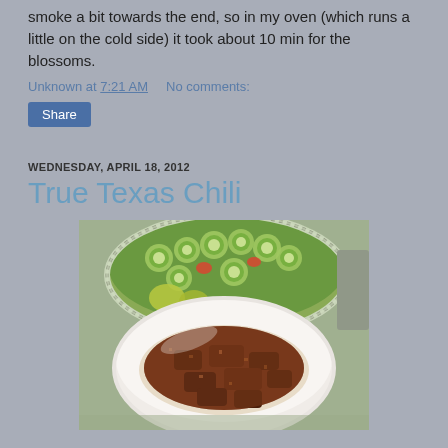smoke a bit towards the end, so in my oven (which runs a little on the cold side) it took about 10 min for the blossoms.
Unknown at 7:21 AM    No comments:
Share
WEDNESDAY, APRIL 18, 2012
True Texas Chili
[Figure (photo): Photo of a bowl of Texas chili with chunky beef pieces served over what appears to be rice or grains, with a bowl of cucumber salad visible in the background on a green countertop.]